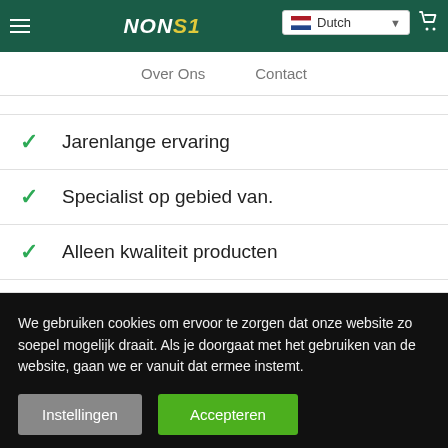NONS1 Dutch
Over Ons   Contact
Jarenlange ervaring
Specialist op gebied van.
Alleen kwaliteit producten
We gebruiken cookies om ervoor te zorgen dat onze website zo soepel mogelijk draait. Als je doorgaat met het gebruiken van de website, gaan we er vanuit dat ermee instemt.
Instellingen   Accepteren